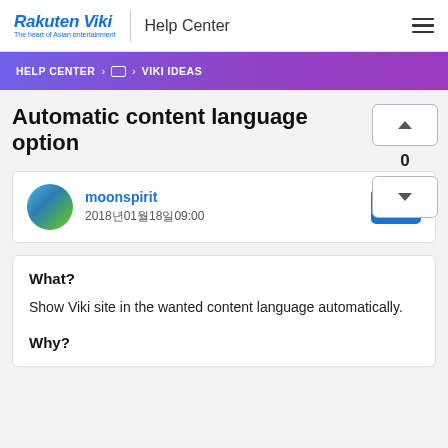Rakuten Viki | Help Center
HELP CENTER › ☐ › VIKI IDEAS
Automatic content language option
moonspirit
2018년01월18일09:00
What?
Show Viki site in the wanted content language automatically.
Why?